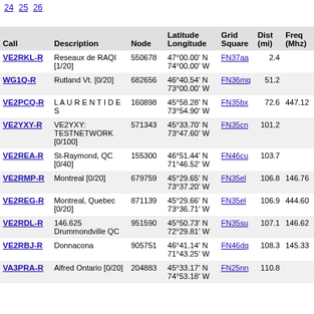24 25 26
| Call | Description | Node | Latitude Longitude | Grid Square | Dist (mi) | Freq (Mhz) |
| --- | --- | --- | --- | --- | --- | --- |
| VE2RKL-R | Reseaux de RAQI [1/20] | 550678 | 47°00.00' N 74°00.00' W | FN37aa | 2.4 |  |
| WG1Q-R | Rutland Vt. [0/20] | 682656 | 46°40.54' N 73°00.00' W | FN36mq | 51.2 |  |
| VE2PCQ-R | L A U R E N T I D E S | 160898 | 45°58.28' N 73°54.90' W | FN35bx | 72.6 | 447.12 |
| VE2YXY-R | VE2YXY: TESTNETWORK [0/100] | 571343 | 45°33.70' N 73°47.60' W | FN35cn | 101.2 |  |
| VE2REA-R | St-Raymond, QC [0/40] | 155300 | 46°51.44' N 71°46.52' W | FN46cu | 103.7 |  |
| VE2RMP-R | Montreal [0/20] | 679759 | 45°29.65' N 73°37.20' W | FN35el | 106.8 | 146.76 |
| VE2REG-R | Montreal, Quebec [0/20] | 871139 | 45°29.66' N 73°36.71' W | FN35el | 106.9 | 444.60 |
| VE2RDL-R | 146.625 Drummondville QC | 951590 | 45°50.73' N 72°29.81' W | FN35su | 107.1 | 146.62 |
| VE2RBJ-R | Donnacona | 905751 | 46°41.14' N 71°43.25' W | FN46dq | 108.3 | 145.33 |
| VA3PRA-R | Alfred Ontario [0/20] | 204883 | 45°33.17' N 74°53.18' W | FN25nn | 110.8 |  |